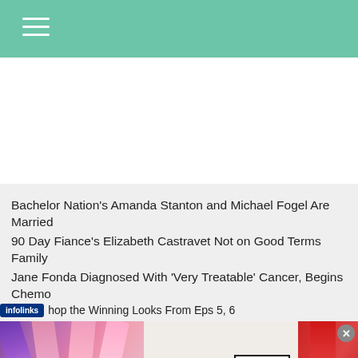Navigation menu bar (teal/green header with hamburger icon)
Bachelor Nation's Amanda Stanton and Michael Fogel Are Married
90 Day Fiance's Elizabeth Castravet Not on Good Terms Family
Jane Fonda Diagnosed With 'Very Treatable' Cancer, Begins Chemo
Bethenny Frankel's Most Candid Celeb Beauty Brand Reviews
hop the Winning Looks From Eps 5, 6
[Figure (photo): MAC cosmetics advertisement banner showing lipsticks in purple, pink and red colors with MAC logo and SHOP NOW button]